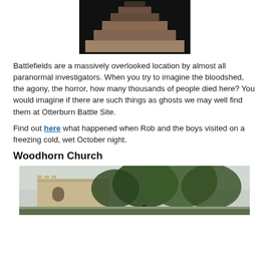[Figure (photo): Dark photograph of a stone monument or stepped memorial stone structure against a black background]
Battlefields are a massively overlooked location by almost all paranormal investigators. When you try to imagine the bloodshed, the agony, the horror, how many thousands of people died here? You would imagine if there are such things as ghosts we may well find them at Otterburn Battle Site.
Find out here what happened when Rob and the boys visited on a freezing cold, wet October night.
Woodhorn Church
[Figure (photo): Photograph of Woodhorn Church, a stone building with trees in foreground against a cloudy sky]